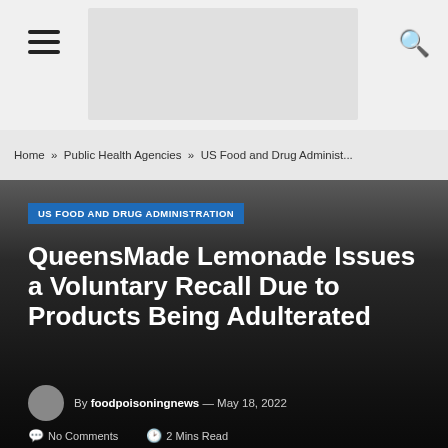[Figure (other): Website top navigation bar with hamburger menu icon on left, logo placeholder in center, and search icon on right]
Home » Public Health Agencies » US Food and Drug Administ...
US FOOD AND DRUG ADMINISTRATION
QueensMade Lemonade Issues a Voluntary Recall Due to Products Being Adulterated
By foodpoisoningnews — May 18, 2022
No Comments   2 Mins Read